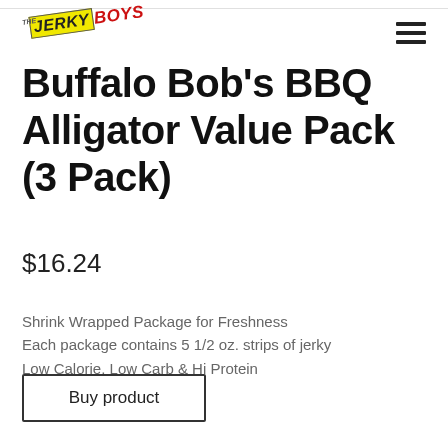[Figure (logo): The Jerky Boys logo with yellow and red stylized text, rotated slightly]
Buffalo Bob's BBQ Alligator Value Pack (3 Pack)
$16.24
Shrink Wrapped Package for Freshness
Each package contains 5 1/2 oz. strips of jerky
Low Calorie, Low Carb & Hi Protein
USDA Certified
Slow Smoked for 7 hours
Buy product